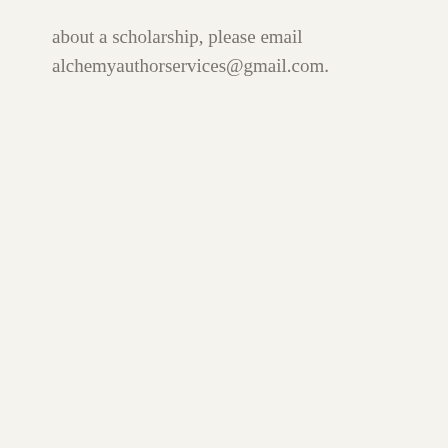about a scholarship, please email alchemyauthorservices@gmail.com.